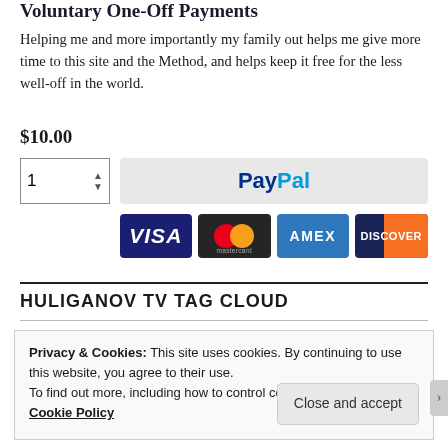Voluntary One-Off Payments
Helping me and more importantly my family out helps me give more time to this site and the Method, and helps keep it free for the less well-off in the world.
$10.00
[Figure (screenshot): Payment widget with quantity selector showing '1' and a PayPal button, followed by credit card logos: VISA, Mastercard, AMEX, DISCOVER]
HULIGANOV TV TAG CLOUD
Privacy & Cookies: This site uses cookies. By continuing to use this website, you agree to their use.
To find out more, including how to control cookies, see here: Our Cookie Policy